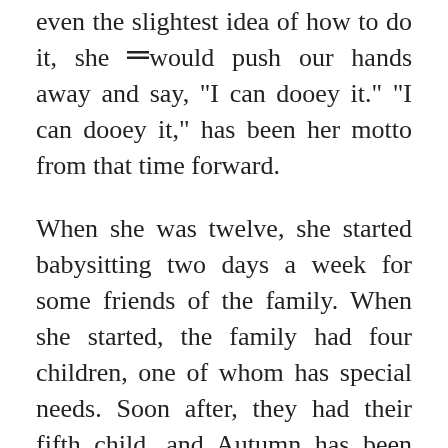even the slightest idea of how to do it, she would push our hands away and say, "I can dooey it." "I can dooey it," has been her motto from that time forward.
When she was twelve, she started babysitting two days a week for some friends of the family. When she started, the family had four children, one of whom has special needs. Soon after, they had their fifth child, and Autumn has been there twice a week every week doing her best to be of some help to this very busy family. Last year, she added to her cadre of duties by taking on the task of